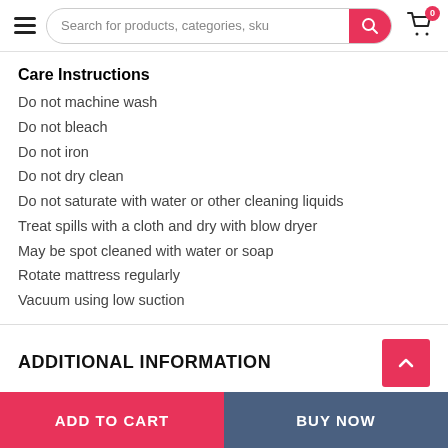Search for products, categories, sku
Care Instructions
Do not machine wash
Do not bleach
Do not iron
Do not dry clean
Do not saturate with water or other cleaning liquids
Treat spills with a cloth and dry with blow dryer
May be spot cleaned with water or soap
Rotate mattress regularly
Vacuum using low suction
ADDITIONAL INFORMATION
ADD TO CART   BUY NOW